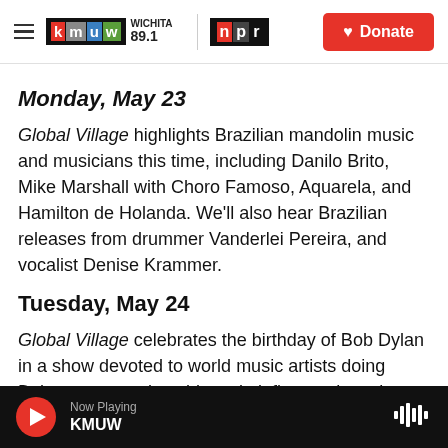KMUW Wichita 89.1 | NPR | Donate
Monday, May 23
Global Village highlights Brazilian mandolin music and musicians this time, including Danilo Brito, Mike Marshall with Choro Famoso, Aquarela, and Hamilton de Holanda. We'll also hear Brazilian releases from drummer Vanderlei Pereira, and vocalist Denise Krammer.
Tuesday, May 24
Global Village celebrates the birthday of Bob Dylan in a show devoted to world music artists doing Dylan songs and world music-influenced versions
Now Playing KMUW